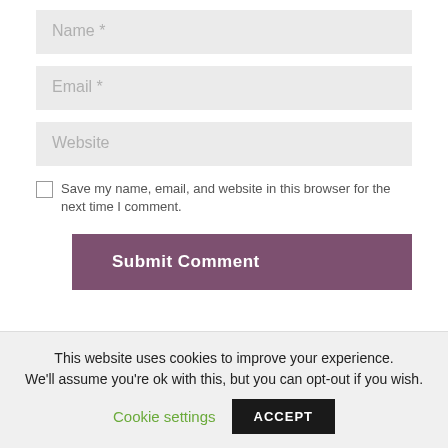Name *
Email *
Website
Save my name, email, and website in this browser for the next time I comment.
Submit Comment
This website uses cookies to improve your experience. We'll assume you're ok with this, but you can opt-out if you wish. Cookie settings ACCEPT